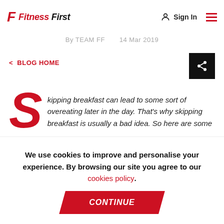Fitness First
How to eat like a champion
By TEAM FF   14 Mar 2019
< BLOG HOME
Skipping breakfast can lead to some sort of overeating later in the day. That's why skipping breakfast is usually a bad idea. So here are some
We use cookies to improve and personalise your experience. By browsing our site you agree to our cookies policy.
CONTINUE